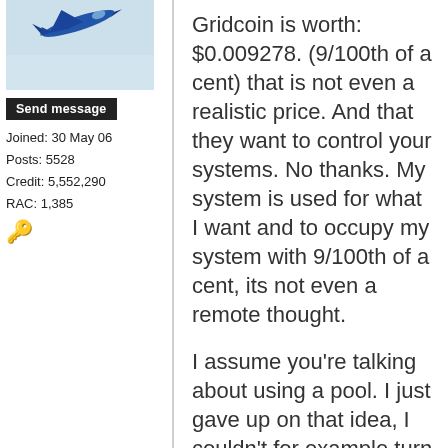[Figure (photo): Avatar image showing a jet airplane flying against a light blue/grey sky background]
Send message
Joined: 30 May 06
Posts: 5528
Credit: 5,552,290
RAC: 1,385
[Figure (illustration): Key emoji icon (🔑)]
Gridcoin is worth: $0.009278. (9/100th of a cent) that is not even a realistic price. And that they want to control your systems. No thanks. My system is used for what I want and to occupy my system with 9/100th of a cent, its not even a remote thought.
I assume you're talking about using a pool. I just gave up on that idea, I couldn't for example turn